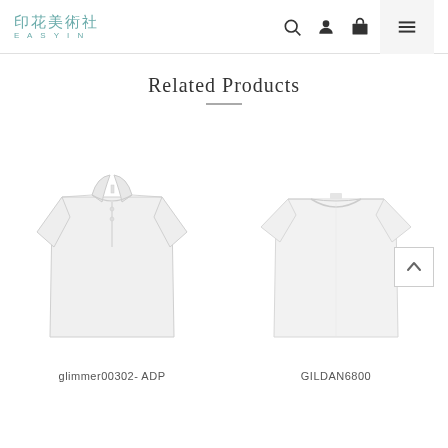印花美術社 EASYIN
Related Products
[Figure (photo): White polo shirt product photo (glimmer00302- ADP)]
glimmer00302- ADP
[Figure (photo): White crew-neck t-shirt product photo (GILDAN6800)]
GILDAN6800